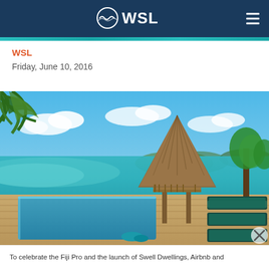WSL
WSL
Friday, June 10, 2016
[Figure (photo): Tropical resort with infinity pool, thatched-roof hut bure, lounge chairs with teal cushions, turquoise ocean and islands in the background, palm fronds overhead, Fiji.]
To celebrate the Fiji Pro and the launch of Swell Dwellings, Airbnb and